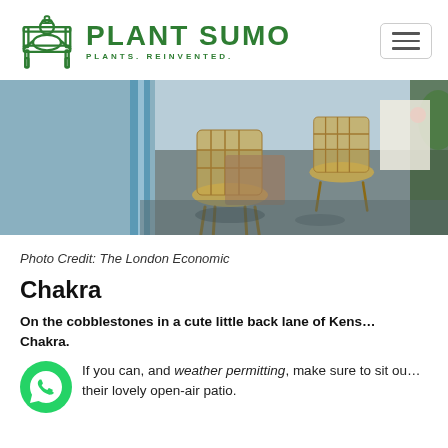[Figure (logo): Plant Sumo logo with sumo wrestler on chair icon and text PLANT SUMO / PLANTS. REINVENTED.]
[Figure (photo): Outdoor restaurant patio with wicker chairs on cobblestone floor, sunlight and tablecloths visible]
Photo Credit: The London Economic
Chakra
On the cobblestones in a cute little back lane of Kens... Chakra.
[Figure (logo): WhatsApp icon - green circle with white phone handset]
If you can, and weather permitting, make sure to sit ou... their lovely open-air patio.